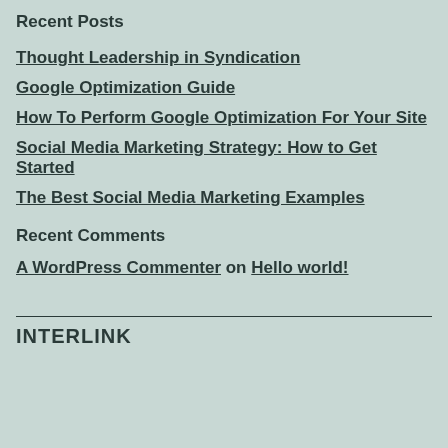Recent Posts
Thought Leadership in Syndication
Google Optimization Guide
How To Perform Google Optimization For Your Site
Social Media Marketing Strategy: How to Get Started
The Best Social Media Marketing Examples
Recent Comments
A WordPress Commenter on Hello world!
INTERLINK